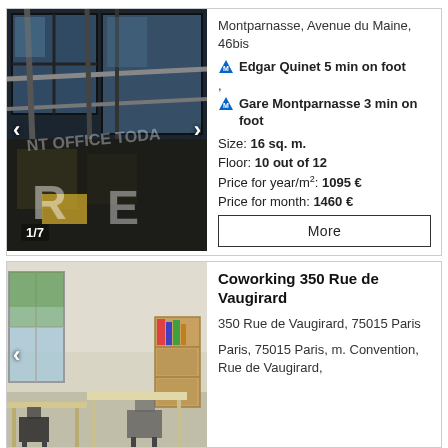[Figure (photo): Exterior photo of an office building with glass facade showing text 'OFFICE TODAY', image counter 1/7, left and right navigation arrows]
Montparnasse, Avenue du Maine, 46bis
M Edgar Quinet 5 min on foot
,
M Gare Montparnasse 3 min on foot
Size: 16 sq. m.
Floor: 10 out of 12
Price for year/m²: 1095 €
Price for month: 1460 €
More
[Figure (photo): Interior photo of a coworking space with desks, chairs, a bookshelf, and a window letting in natural light]
Coworking 350 Rue de Vaugirard
350 Rue de Vaugirard, 75015 Paris
Paris, 75015 Paris, m. Convention, Rue de Vaugirard,